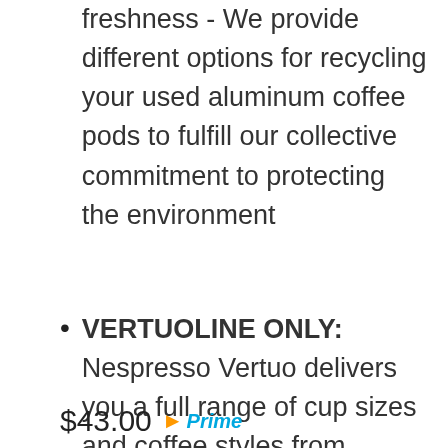freshness - We provide different options for recycling your used aluminum coffee pods to fulfill our collective commitment to protecting the environment
VERTUOLINE ONLY: Nespresso Vertuo delivers you a full range of cup sizes and coffee styles from espresso to Alto XL with easy to use Nespresso pods. Enjoy hot or pour over ice. (VertuoLine Capsules are not compatible with OriginalLine machines )
$43.00 Prime